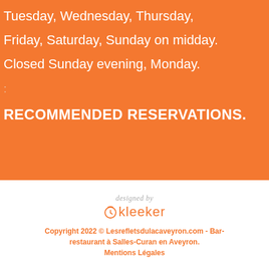Tuesday, Wednesday, Thursday,
Friday, Saturday, Sunday on midday.
Closed Sunday evening, Monday.
:
RECOMMENDED RESERVATIONS.
[Figure (logo): Kleeker logo with 'designed by' text above and an orange clock/circle icon followed by 'kleeker' in orange text]
Copyright 2022 © Lesrefletsdulacaveyron.com - Bar-restaurant à Salles-Curan en Aveyron.
Mentions Légales